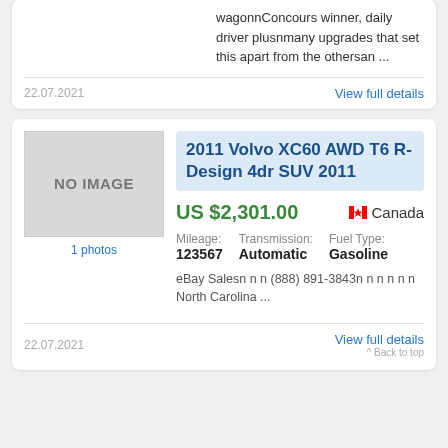wagonnConcours winner, daily driver plusnmany upgrades that set this apart from the othersan ...
22.07.2021
View full details
2011 Volvo XC60 AWD T6 R-Design 4dr SUV 2011
US $2,301.00
🍁 Canada
Mileage: 123567  Transmission: Automatic  Fuel Type: Gasoline
eBay Salesn n n (888) 891-3843n n n n n n North Carolina ...
22.07.2021
View full details
^ Back to top